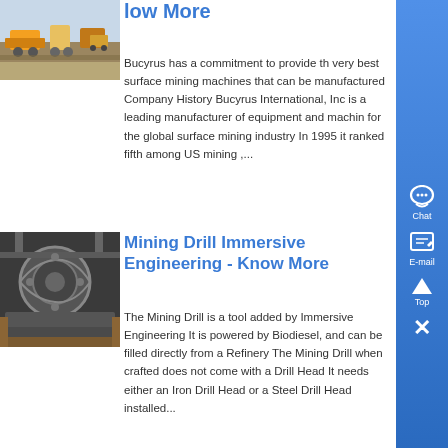[Figure (photo): Aerial or ground-level view of a surface mining site with heavy equipment and vehicles.]
low More
Bucyrus has a commitment to provide the very best surface mining machines that can be manufactured Company History Bucyrus International, Inc is a leading manufacturer of equipment and machines for the global surface mining industry In 1995 it ranked fifth among US mining ,...
[Figure (photo): Industrial mining drill machinery with large gears and mechanical components.]
Mining Drill Immersive Engineering - Know More
The Mining Drill is a tool added by Immersive Engineering It is powered by Biodiesel, and can be filled directly from a Refinery The Mining Drill when crafted does not come with a Drill Head It needs either an Iron Drill Head or a Steel Drill Head installed...